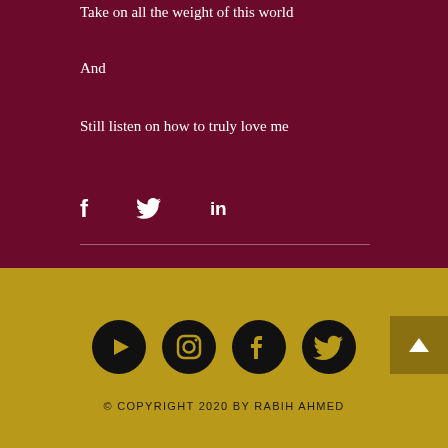Take on all the weight of this world
And
Still listen on how to truly love me
[Figure (infographic): Social share icons: Facebook (f), Twitter (bird), LinkedIn (in) on dark red background with horizontal divider line]
[Figure (infographic): Footer social media icons on gold background: YouTube, Instagram, Facebook, Twitter circles; back-to-top button]
© Copyright 2020 by Rabih Ahmed